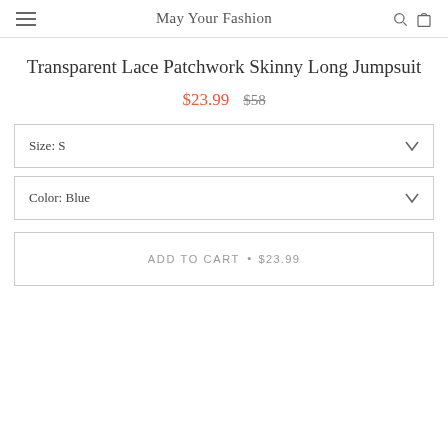May Your Fashion
Transparent Lace Patchwork Skinny Long Jumpsuit
$23.99  $58
Size: S
Color: Blue
ADD TO CART • $23.99